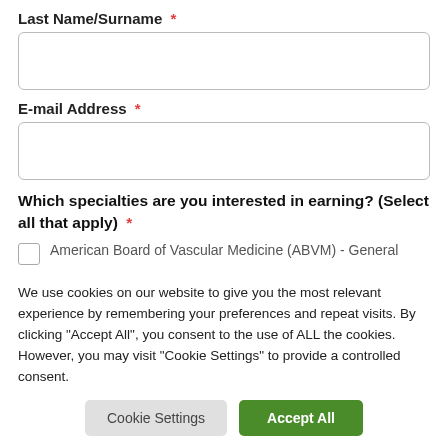Last Name/Surname *
E-mail Address *
Which specialties are you interested in earning? (Select all that apply) *
American Board of Vascular Medicine (ABVM) - General
We use cookies on our website to give you the most relevant experience by remembering your preferences and repeat visits. By clicking "Accept All", you consent to the use of ALL the cookies. However, you may visit "Cookie Settings" to provide a controlled consent.